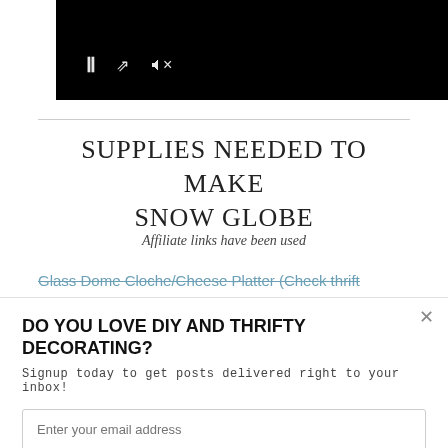[Figure (screenshot): Video player showing black screen with pause, expand, and mute controls in white]
SUPPLIES NEEDED TO MAKE SNOW GLOBE
Affiliate links have been used
Glass Dome Cloche/Cheese Platter (Check thrift
DO YOU LOVE DIY AND THRIFTY DECORATING?
Signup today to get posts delivered right to your inbox!
Enter your email address
Subscribe Now